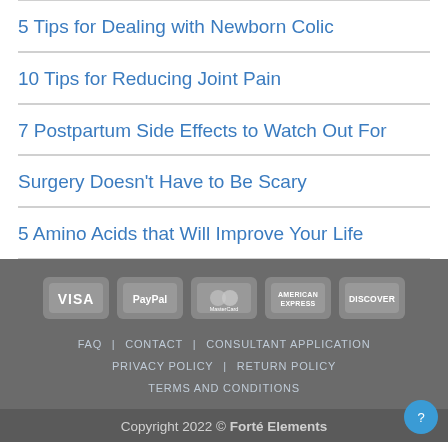5 Tips for Dealing with Newborn Colic
10 Tips for Reducing Joint Pain
7 Postpartum Side Effects to Watch Out For
Surgery Doesn't Have to Be Scary
5 Amino Acids that Will Improve Your Life
[Figure (other): Payment method icons: VISA, PayPal, MasterCard, American Express, Discover]
FAQ  CONTACT  CONSULTANT APPLICATION  PRIVACY POLICY  RETURN POLICY  TERMS AND CONDITIONS
Copyright 2022 © Forté Elements